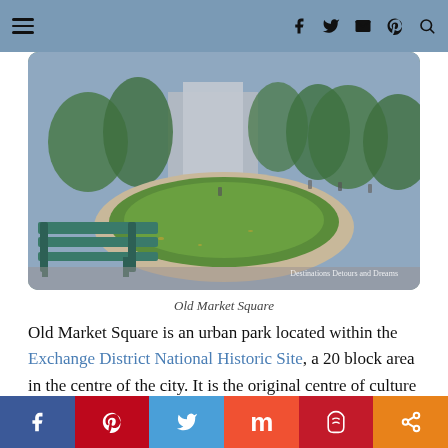Navigation header with hamburger menu and social icons
[Figure (photo): Photo of Old Market Square, an urban park with green lawn, trees, benches in foreground, and modern buildings in background. Watermark reads 'Destinations Detours and Dreams'.]
Old Market Square
Old Market Square is an urban park located within the Exchange District National Historic Site, a 20 block area in the centre of the city. It is the original centre of culture and commerce for Winnipeg and contains many heritage buildings, dating from 1880 to 1920.
Social share bar: Facebook, Pinterest, Twitter, Mix, Flipboard, Share